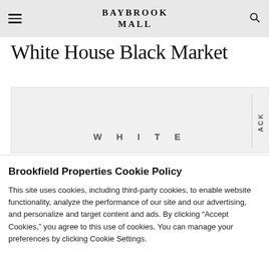BAYBROOK MALL
White House Black Market
[Figure (screenshot): White House Black Market store banner/logo image with light grey background and the text 'WHITE' visible, partially cropped with vertical 'ACK' text on the right side]
Brookfield Properties Cookie Policy
This site uses cookies, including third-party cookies, to enable website functionality, analyze the performance of our site and our advertising, and personalize and target content and ads. By clicking “Accept Cookies,” you agree to this use of cookies. You can manage your preferences by clicking Cookie Settings.